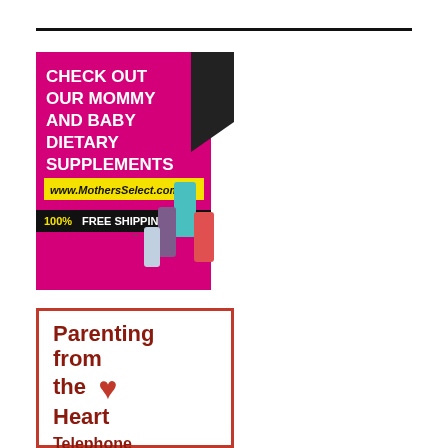[Figure (illustration): Mother's Select dietary supplements advertisement with magenta/pink background, bold white text 'CHECK OUT OUR MOMMY AND BABY DIETARY SUPPLEMENTS', yellow banner with 'www.MothersSelect.com', black banner with '100% FREE SHIPPING', Mother's Select logo with mother and child icon in circle, italic script text 'Mother's Select', and product images of supplement bottles and packages]
[Figure (illustration): Parenting from the Heart advertisement with orange-red border, dark red bold text 'Parenting from the Heart' with a red heart symbol, and 'Telephone' text at the bottom]